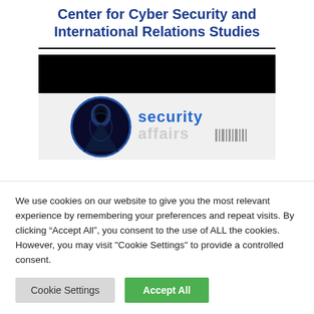Center for Cyber Security and International Relations Studies
[Figure (logo): Security Affairs logo with hooded figure in circle and stylized 'security affairs' text with barcode-style elements]
We use cookies on our website to give you the most relevant experience by remembering your preferences and repeat visits. By clicking “Accept All”, you consent to the use of ALL the cookies. However, you may visit "Cookie Settings" to provide a controlled consent.